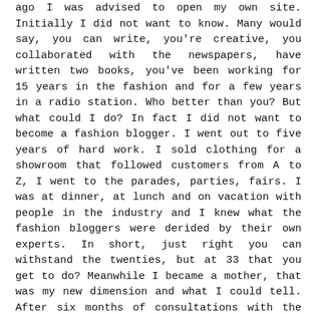ago I was advised to open my own site. Initially I did not want to know. Many would say, you can write, you're creative, you collaborated with the newspapers, have written two books, you've been working for 15 years in the fashion and for a few years in a radio station. Who better than you? But what could I do? In fact I did not want to become a fashion blogger. I went out to five years of hard work. I sold clothing for a showroom that followed customers from A to Z, I went to the parades, parties, fairs. I was at dinner, at lunch and on vacation with people in the industry and I knew what the fashion bloggers were derided by their own experts. In short, just right you can withstand the twenties, but at 33 that you get to do? Meanwhile I became a mother, that was my new dimension and what I could tell. After six months of consultations with the people dearest to me, I decided to try and I started writing. Without much thought. Floor, with calm and tranquility. Since the first week I had 2000 visits a day. People wrote to me from all sides. Initially I was bewildered by all this interest. Then came my first